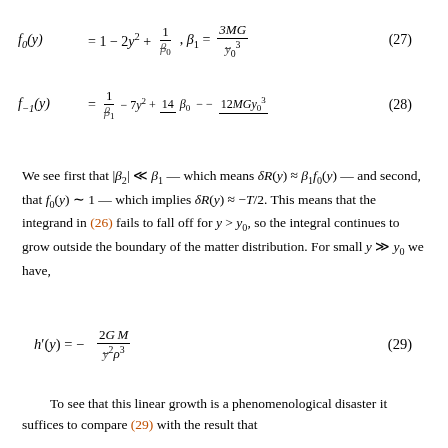We see first that |β₂| ≪ β₁ — which means δR(y) ≈ β₁f₀(y) — and second, that f₀(y) ~ 1 — which implies δR(y) ≈ −T/2. This means that the integrand in (26) fails to fall off for y > y₀, so the integral continues to grow outside the boundary of the matter distribution. For small y ≫ y₀ we have,
To see that this linear growth is a phenomenological disaster it suffices to compare (29) with the result that